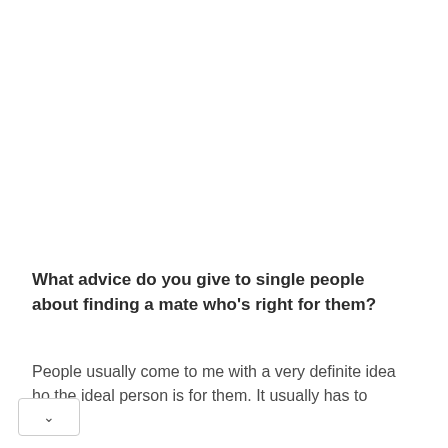What advice do you give to single people about finding a mate who's right for them?
People usually come to me with a very definite idea ho the ideal person is for them. It usually has to